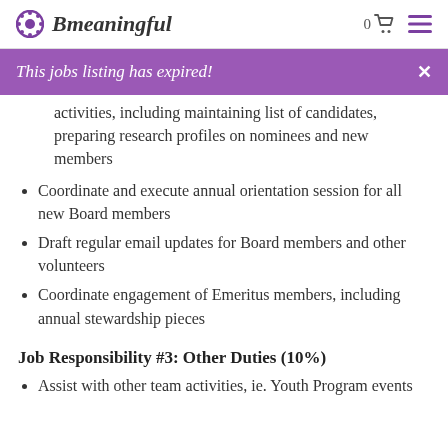Bmeaningful
This jobs listing has expired!
activities, including maintaining list of candidates, preparing research profiles on nominees and new members
Coordinate and execute annual orientation session for all new Board members
Draft regular email updates for Board members and other volunteers
Coordinate engagement of Emeritus members, including annual stewardship pieces
Job Responsibility #3: Other Duties (10%)
Assist with other team activities, ie. Youth Program events